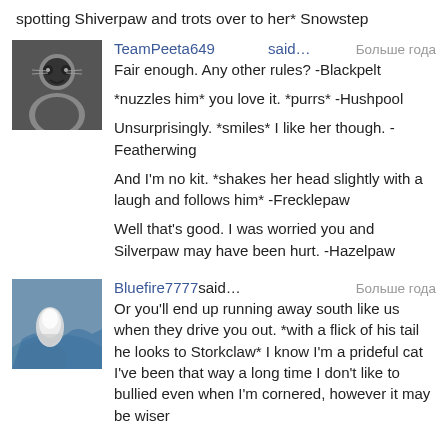spotting Shiverpaw and trots over to her* Snowstep
TeamPeeta649 said… Больше года
Fair enough. Any other rules? -Blackpelt

*nuzzles him* you love it. *purrs* -Hushpool

Unsurprisingly. *smiles* I like her though. -Featherwing

And I'm no kit. *shakes her head slightly with a laugh and follows him* -Frecklepaw

Well that's good. I was worried you and Silverpaw may have been hurt. -Hazelpaw
Bluefire7777 said… Больше года
Or you'll end up running away south like us when they drive you out. *with a flick of his tail he looks to Storkclaw* I know I'm a prideful cat I've been that way a long time I don't like to bullied even when I'm cornered, however it may be wiser